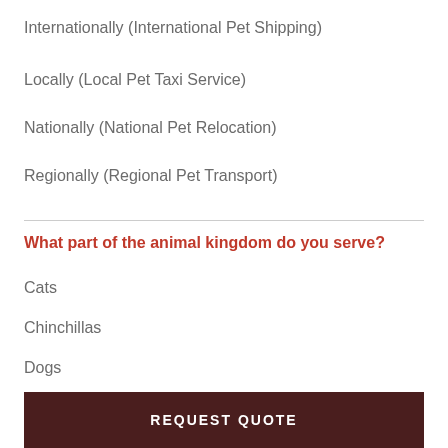Internationally (International Pet Shipping)
Locally (Local Pet Taxi Service)
Nationally (National Pet Relocation)
Regionally (Regional Pet Transport)
What part of the animal kingdom do you serve?
Cats
Chinchillas
Dogs
REQUEST QUOTE